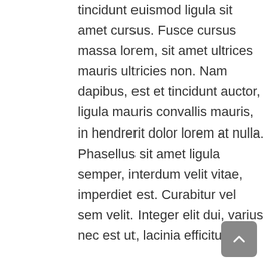tincidunt euismod ligula sit amet cursus. Fusce cursus massa lorem, sit amet ultrices mauris ultricies non. Nam dapibus, est et tincidunt auctor, ligula mauris convallis mauris, in hendrerit dolor lorem at nulla. Phasellus sit amet ligula semper, interdum velit vitae, imperdiet est. Curabitur vel sem velit. Integer elit dui, varius nec est ut, lacinia efficitur